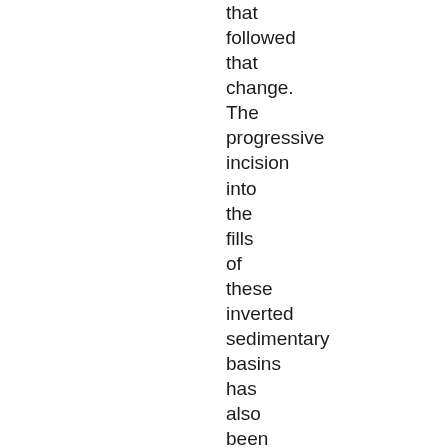that followed that change. The progressive incision into the fills of these inverted sedimentary basins has also been linked to this climatic